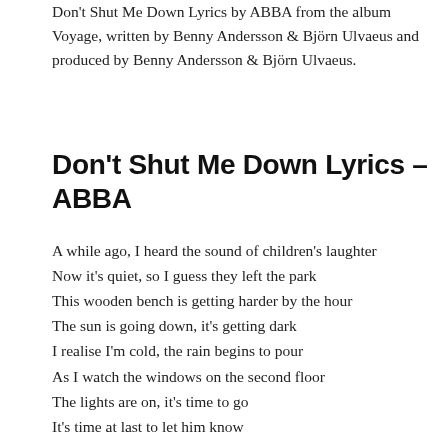Don't Shut Me Down Lyrics by ABBA from the album Voyage, written by Benny Andersson & Björn Ulvaeus and produced by Benny Andersson & Björn Ulvaeus.
Don't Shut Me Down Lyrics – ABBA
A while ago, I heard the sound of children's laughter
Now it's quiet, so I guess they left the park
This wooden bench is getting harder by the hour
The sun is going down, it's getting dark
I realise I'm cold, the rain begins to pour
As I watch the windows on the second floor
The lights are on, it's time to go
It's time at last to let him know